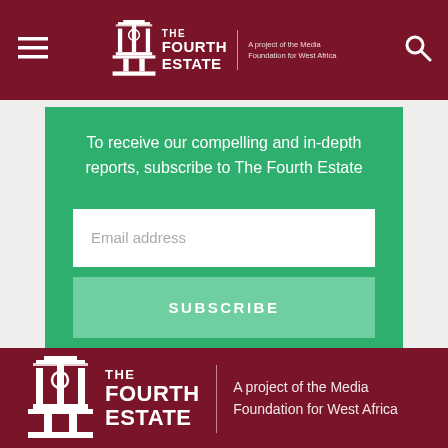The Fourth Estate — A project of the Media Foundation for West Africa
To receive our compelling and in-depth reports, subscribe to The Fourth Estate
[Figure (screenshot): Email address input field (white rectangle)]
SUBSCRIBE
[Figure (logo): The Fourth Estate logo — A project of the Media Foundation for West Africa, white on dark red background]